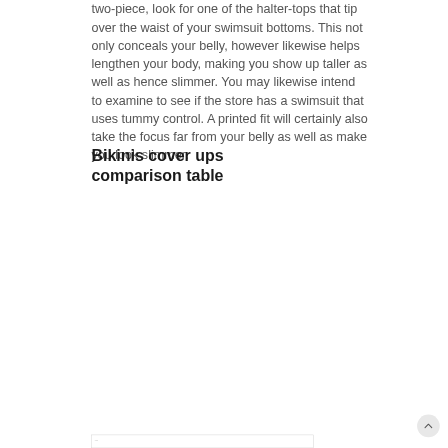two-piece, look for one of the halter-tops that tip over the waist of your swimsuit bottoms. This not only conceals your belly, however likewise helps lengthen your body, making you show up taller as well as hence slimmer. You may likewise intend to examine to see if the store has a swimsuit that uses tummy control. A printed fit will certainly also take the focus far from your belly as well as make you look slimmer.
Bikinis cover ups comparison table